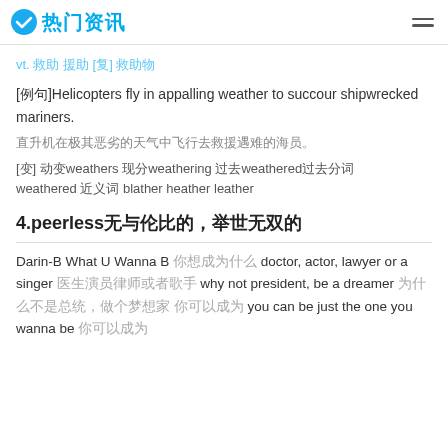热门资讯
vt. 救助 援助 [复] 救助物
[例句]Helicopters fly in appalling weather to succour shipwrecked mariners.
直升机在极其恶劣的天气中飞行去救援遇难的海员。
[变] 动变weathers 现分weathering 过去weathered过去分词weathered 近义词 blather heather leather
4.peerless无与伦比的，举世无双的
Darin-B What U Wanna B 你想成为什么 doctor, actor, lawyer or a singer 医生演员律师或者歌手 why not president, be a dreamer 为什么不是总统，做个梦想家 you can be just the one you wanna be 你可以成为